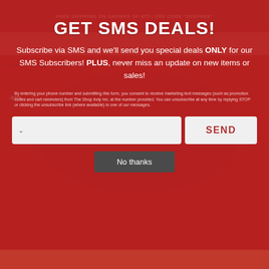FREE SHIPPING ON ORDERS OF $75 | USE CODE "ZEEFREE"
Home / The Shop Indy / Indiana 90's Stripe Hoodie
GET SMS DEALS!
Subscribe via SMS and we'll send you special deals ONLY for our SMS Subscribers! PLUS, never miss an update on new items or sales!
By entering your phone number and submitting this form, you consent to receive marketing text messages (such as promotion codes and cart reminders) from The Shop Indy Inc. at the number provided. You can unsubscribe at any time by replying STOP or clicking the unsubscribe link (where available) in one of our messages.
SEND
No thanks